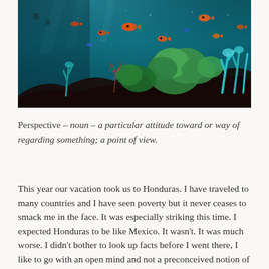[Figure (photo): Underwater coral reef scene with orange tropical fish swimming among colorful coral formations in blue-teal water, with divers visible in the background.]
Perspective – noun – a particular attitude toward or way of regarding something; a point of view.
This year our vacation took us to Honduras. I have traveled to many countries and I have seen poverty but it never ceases to smack me in the face. It was especially striking this time. I expected Honduras to be like Mexico. It wasn't. It was much worse. I didn't bother to look up facts before I went there, I like to go with an open mind and not a preconceived notion of what to expect. The GDP of Honduras is about 18 billion, the GDP of Mexico is over a trillion...